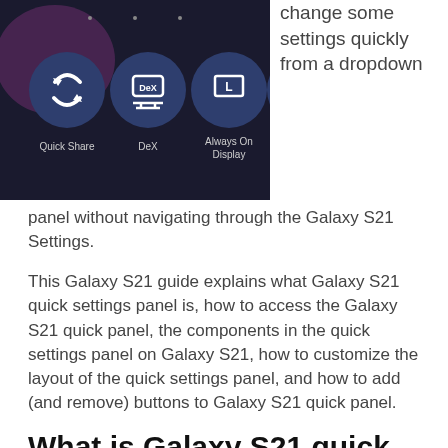[Figure (screenshot): Samsung Galaxy S21 quick settings panel showing icons: Quick Share, DeX, Always On Display, Smart View on a dark background]
change some settings quickly from a dropdown panel without navigating through the Galaxy S21 Settings.
This Galaxy S21 guide explains what Galaxy S21 quick settings panel is, how to access the Galaxy S21 quick panel, the components in the quick settings panel on Galaxy S21, how to customize the layout of the quick settings panel, and how to add (and remove) buttons to Galaxy S21 quick panel.
What is Galaxy S21 quick